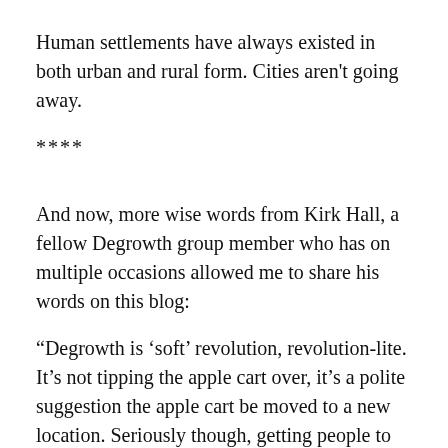Human settlements have always existed in both urban and rural form. Cities aren't going away.
****
And now, more wise words from Kirk Hall, a fellow Degrowth group member who has on multiple occasions allowed me to share his words on this blog:
“Degrowth is ‘soft’ revolution, revolution-lite. It’s not tipping the apple cart over, it’s a polite suggestion the apple cart be moved to a new location. Seriously though, getting people to farm their yards, balconies, and rooftops is revolutionary. Getting people to co-house, cut their hours and participate in farming and food rescue is revolutionary. Forming Co-op businesses and various unions is revolutionary. … It has to happen at a faster pace, but the breaking down of the normal system is